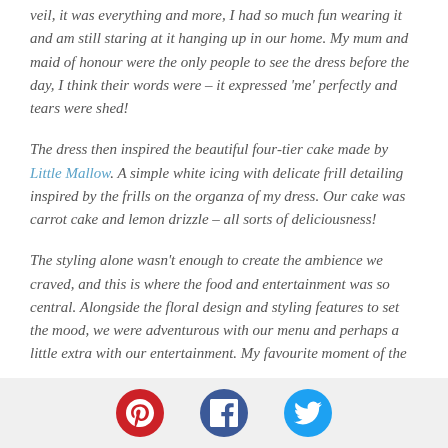veil, it was everything and more, I had so much fun wearing it and am still staring at it hanging up in our home. My mum and maid of honour were the only people to see the dress before the day, I think their words were – it expressed 'me' perfectly and tears were shed!
The dress then inspired the beautiful four-tier cake made by Little Mallow. A simple white icing with delicate frill detailing inspired by the frills on the organza of my dress. Our cake was carrot cake and lemon drizzle – all sorts of deliciousness!
The styling alone wasn't enough to create the ambience we craved, and this is where the food and entertainment was so central. Alongside the floral design and styling features to set the mood, we were adventurous with our menu and perhaps a little extra with our entertainment. My favourite moment of the
[Figure (infographic): Social media share icons: Pinterest (red circle with P), Facebook (dark blue circle with f), Twitter (light blue circle with bird)]